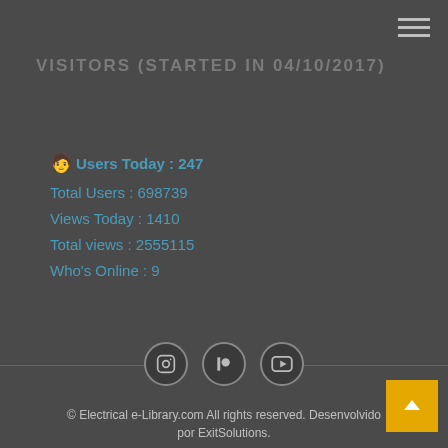VISITORS (STARTED IN 04/10/2017)
Users Today : 247
Total Users : 698739
Views Today : 1410
Total views : 2555115
Who's Online : 9
[Figure (illustration): Social media icons: Instagram, Patreon, YouTube circles]
© Electrical e-Library.com All rights reserved. Desenvolvido por ExitSolutions.